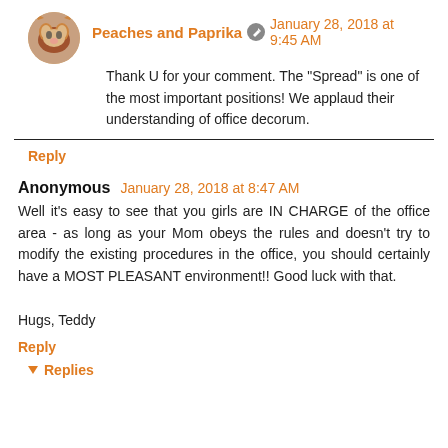Peaches and Paprika [edit icon] January 28, 2018 at 9:45 AM
Thank U for your comment. The "Spread" is one of the most important positions! We applaud their understanding of office decorum.
Reply
Anonymous January 28, 2018 at 8:47 AM
Well it's easy to see that you girls are IN CHARGE of the office area - as long as your Mom obeys the rules and doesn't try to modify the existing procedures in the office, you should certainly have a MOST PLEASANT environment!! Good luck with that.

Hugs, Teddy
Reply
Replies